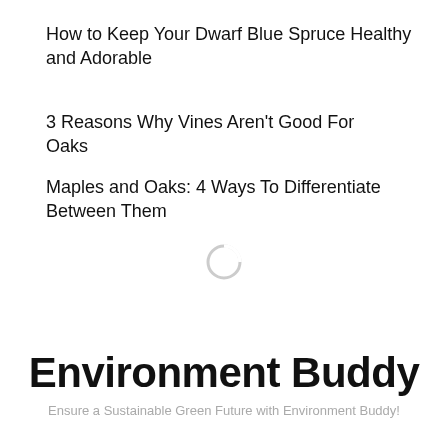How to Keep Your Dwarf Blue Spruce Healthy and Adorable
3 Reasons Why Vines Aren't Good For Oaks
Maples and Oaks: 4 Ways To Differentiate Between Them
[Figure (other): Loading spinner circle icon]
Environment Buddy
Ensure a Sustainable Green Future with Environment Buddy!